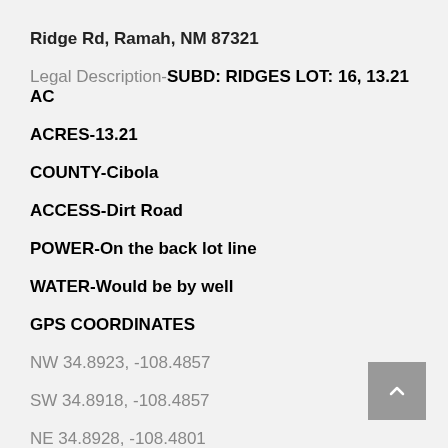Ridge Rd, Ramah, NM 87321
Legal Description-SUBD: RIDGES LOT: 16, 13.21 AC
ACRES-13.21
COUNTY-Cibola
ACCESS-Dirt Road
POWER-On the back lot line
WATER-Would be by well
GPS COORDINATES
NW 34.8923, -108.4857
SW 34.8918, -108.4857
NE 34.8928, -108.4801